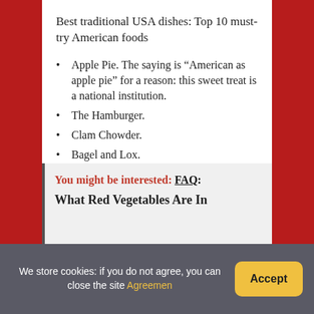Best traditional USA dishes: Top 10 must-try American foods
Apple Pie. The saying is “American as apple pie” for a reason: this sweet treat is a national institution.
The Hamburger.
Clam Chowder.
Bagel and Lox.
Deep-Dish Pizza.
Drop Biscuits and Sausage Gravy.
Texas Barbecue.
Hominy Grits.
You might be interested: FAQ: What Red Vegetables Are In
We store cookies: if you do not agree, you can close the site Agreemen